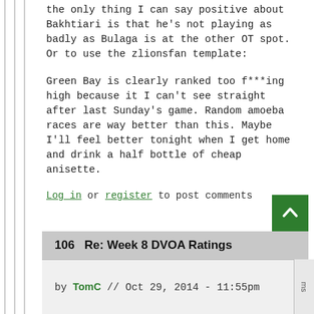the only thing I can say positive about Bakhtiari is that he's not playing as badly as Bulaga is at the other OT spot. Or to use the zlionsfan template:
Green Bay is clearly ranked too f***ing high because it I can't see straight after last Sunday's game. Random amoeba races are way better than this. Maybe I'll feel better tonight when I get home and drink a half bottle of cheap anisette.
Log in or register to post comments
106   Re: Week 8 DVOA Ratings
by TomC // Oct 29, 2014 - 11:55pm